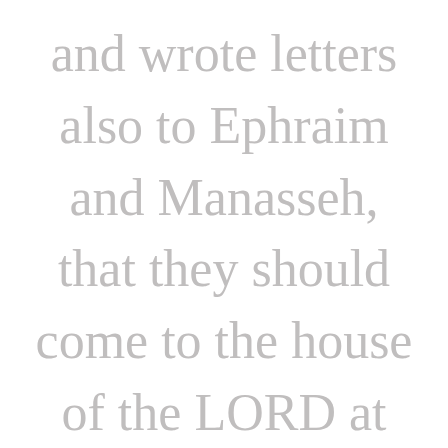and wrote letters also to Ephraim and Manasseh, that they should come to the house of the LORD at Jerusalem, to keep the passover unto the